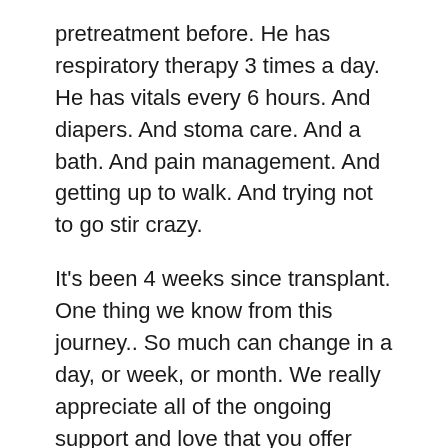pretreatment before. He has respiratory therapy 3 times a day. He has vitals every 6 hours. And diapers. And stoma care. And a bath. And pain management. And getting up to walk. And trying not to go stir crazy.
It's been 4 weeks since transplant. One thing we know from this journey.. So much can change in a day, or week, or month. We really appreciate all of the ongoing support and love that you offer Patrick, near or far.
[Figure (photo): Broken image placeholder with link text IMG_20141128_191034]